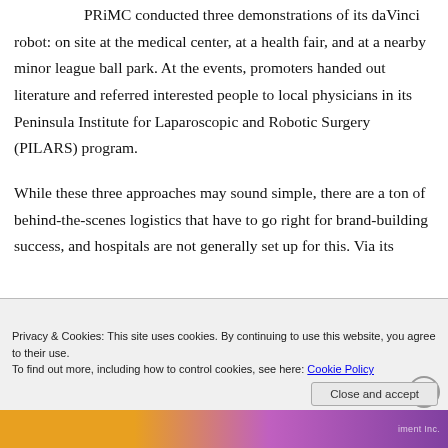PRiMC conducted three demonstrations of its daVinci robot: on site at the medical center, at a health fair, and at a nearby minor league ball park. At the events, promoters handed out literature and referred interested people to local physicians in its Peninsula Institute for Laparoscopic and Robotic Surgery (PILARS) program.
While these three approaches may sound simple, there are a ton of behind-the-scenes logistics that have to go right for brand-building success, and hospitals are not generally set up for this. Via its
Privacy & Cookies: This site uses cookies. By continuing to use this website, you agree to their use.
To find out more, including how to control cookies, see here: Cookie Policy
Close and accept